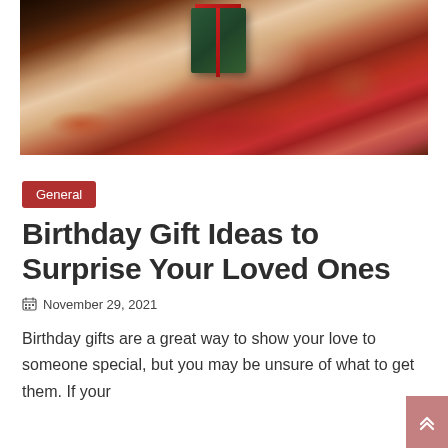[Figure (photo): Hands exchanging wrapped gift boxes with red ribbons and bows, holiday/birthday gift giving scene]
General
Birthday Gift Ideas to Surprise Your Loved Ones
November 29, 2021
Birthday gifts are a great way to show your love to someone special, but you may be unsure of what to get them. If your